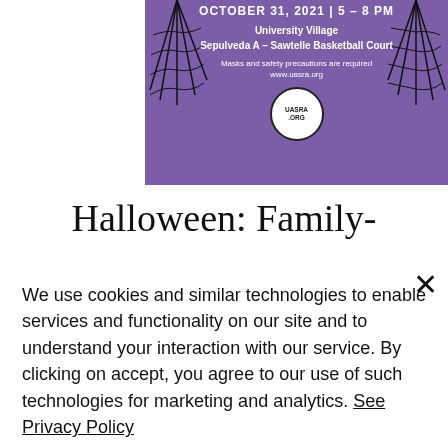[Figure (illustration): Purple event flyer showing 'October 31, 2021 | 5 - 8 PM', 'University Village Sepulveda A - Sawtelle Basketball Court', 'Masks and safety precautions are required www.uasra.org', UASRA.ORG logo circle, and spider web decorations on left and right sides.]
Halloween: Family-
We use cookies and similar technologies to enable services and functionality on our site and to understand your interaction with our service. By clicking on accept, you agree to our use of such technologies for marketing and analytics. See Privacy Policy
Decline All
Accept
Cookie Settings